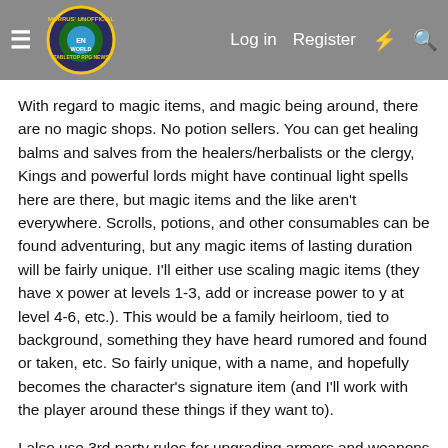Morrus' Unofficial Tabletop RPG News — Log in | Register
With regard to magic items, and magic being around, there are no magic shops. No potion sellers. You can get healing balms and salves from the healers/herbalists or the clergy, Kings and powerful lords might have continual light spells here are there, but magic items and the like aren't everywhere. Scrolls, potions, and other consumables can be found adventuring, but any magic items of lasting duration will be fairly unique. I'll either use scaling magic items (they have x power at levels 1-3, add or increase power to y at level 4-6, etc.). This would be a family heirloom, tied to background, something they have heard rumored and found or taken, etc. So fairly unique, with a name, and hopefully becomes the character's signature item (and I'll work with the player around these things if they want to).
I also use 3rd party rules for upgrading armors and weapons